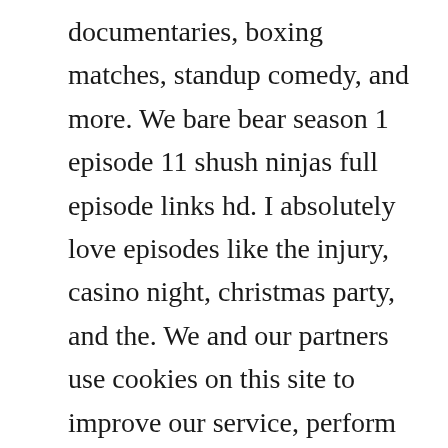documentaries, boxing matches, standup comedy, and more. We bare bear season 1 episode 11 shush ninjas full episode links hd. I absolutely love episodes like the injury, casino night, christmas party, and the. We and our partners use cookies on this site to improve our service, perform analytics, personalize advertising, measure advertising performance, and. Overall, almost every episode in this season is really funny, and there arent a lot of big changeups here. Watch tv shows and documentaries online for free in high definition. Michae...